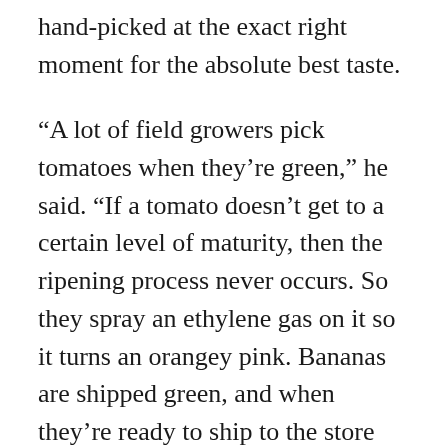hand-picked at the exact right moment for the absolute best taste.
“A lot of field growers pick tomatoes when they’re green,” he said. “If a tomato doesn’t get to a certain level of maturity, then the ripening process never occurs. So they spray an ethylene gas on it so it turns an orangey pink. Bananas are shipped green, and when they’re ready to ship to the store they spray them with ethylene. Vine ripened taste is much better.”
The company’s agricultural engineers are working on extending product shelf life